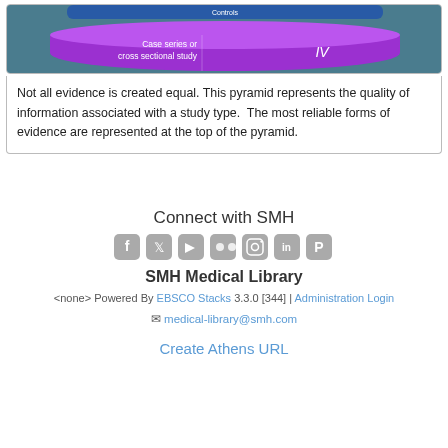[Figure (infographic): Bottom portion of an evidence pyramid diagram showing 'Case series or cross sectional study' labeled as level IV, with a purple/violet colored wide flat pyramid band on a teal/blue background.]
Not all evidence is created equal. This pyramid represents the quality of information associated with a study type.  The most reliable forms of evidence are represented at the top of the pyramid.
Connect with SMH
[Figure (infographic): Row of social media icons: Facebook, Twitter, YouTube, Flickr, Instagram, LinkedIn, Pinterest — all in gray rounded square style.]
SMH Medical Library
<none> Powered By EBSCO Stacks 3.3.0 [344] | Administration Login
✉ medical-library@smh.com
Create Athens URL